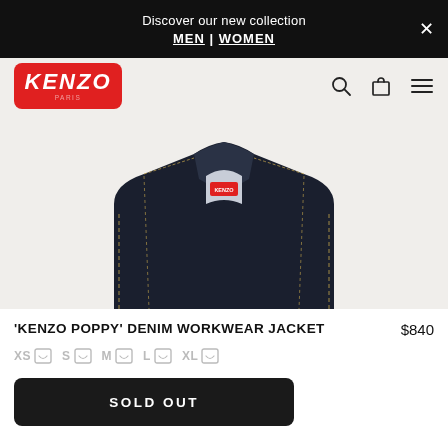Discover our new collection MEN | WOMEN
[Figure (logo): KENZO brand logo — white bold italic text on red rounded rectangle background]
[Figure (photo): Close-up of the collar and upper chest area of a dark indigo denim jacket with a red KENZO label visible at the collar, on a light beige background]
'KENZO POPPY' DENIM WORKWEAR JACKET
$840
XS
S
M
L
XL
SOLD OUT